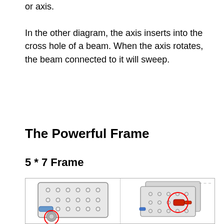or axis. In the other diagram, the axis inserts into the cross hole of a beam. When the axis rotates, the beam connected to it will sweep.
The Powerful Frame
5 * 7 Frame
[Figure (engineering-diagram): Two side-by-side diagrams of a 5x7 mechanical frame assembly. Left diagram shows a flat frame with a red circle highlight at the bottom. Right diagram shows an assembled frame with red circle highlighting a connection joint, and a red/orange component indicating the axis-beam connection.]